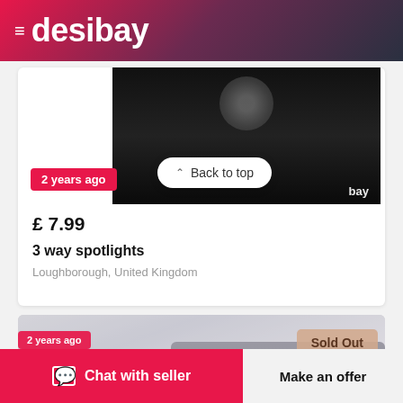desibay
2 years ago
Back to top
£ 7.99
3 way spotlights
Loughborough, United Kingdom
[Figure (photo): Sofa set in a living room with a coffee table, partially faded/washed out image showing dark sofas with cushions]
Sold Out
Chat with seller
Make an offer
2 years ago